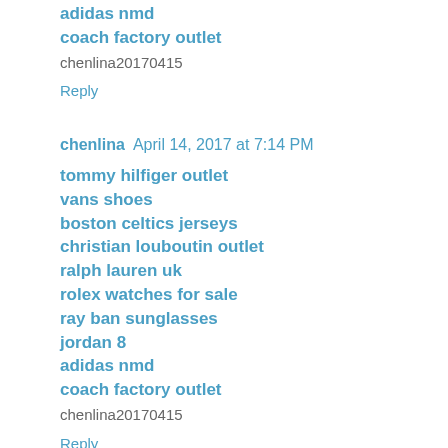adidas nmd
coach factory outlet
chenlina20170415
Reply
chenlina  April 14, 2017 at 7:14 PM
tommy hilfiger outlet
vans shoes
boston celtics jerseys
christian louboutin outlet
ralph lauren uk
rolex watches for sale
ray ban sunglasses
jordan 8
adidas nmd
coach factory outlet
chenlina20170415
Reply
Unknown  May 2, 2017 at 7:46 PM